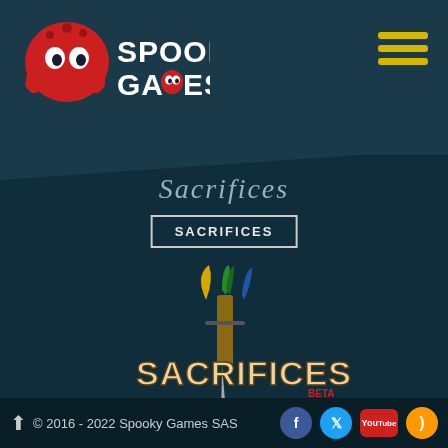[Figure (logo): Spooky Games logo with red ghost/octopus mascot and white bold text reading SPOOKY GAMES]
[Figure (logo): Hamburger menu icon (three horizontal yellow lines) in top right corner]
Sacrifices
SACRIFICES
[Figure (logo): Sacrifices game logo with colorful jester hat dagger and heart, text SACRIFICES BETA]
This website uses cookies to ensure you get the best experience on our website.
After a tumultuous first round, Here comes the time of a brand new iteration for our latest game, Sacrifices. Thanks to all the nice people who
© 2016 - 2022 Spooky Games SAS